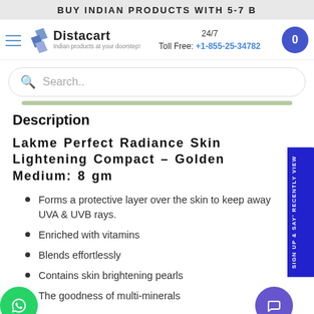BUY INDIAN PRODUCTS WITH 5-7 B
[Figure (logo): Distacart logo with tagline 'Indian products at your doorstep']
24/7 Toll Free: +1-855-25-34782
Search..
Description
Lakme Perfect Radiance Skin Lightening Compact - Golden Medium: 8 gm
Forms a protective layer over the skin to keep away UVA & UVB rays.
Enriched with vitamins
Blends effortlessly
Contains skin brightening pearls
The goodness of multi-minerals